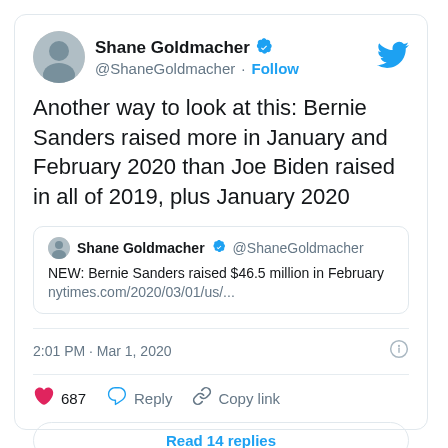Shane Goldmacher @ShaneGoldmacher · Follow
Another way to look at this: Bernie Sanders raised more in January and February 2020 than Joe Biden raised in all of 2019, plus January 2020
Shane Goldmacher @ShaneGoldmacher
NEW: Bernie Sanders raised $46.5 million in February
nytimes.com/2020/03/01/us/...
2:01 PM · Mar 1, 2020
687  Reply  Copy link
Read 14 replies